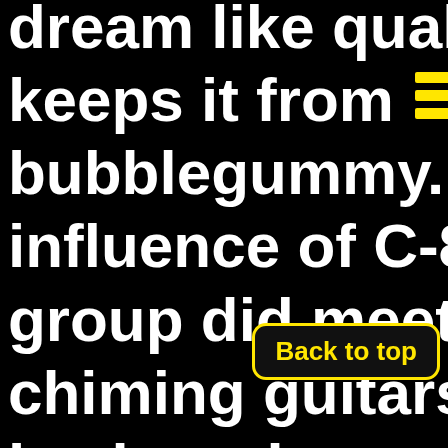dream like quality t keeps it from ≡g bubblegummy. Eac influence of C-86 a group did meet at a chiming guitars. sy keyboards
[Figure (other): Yellow hamburger/menu icon with three horizontal yellow bars]
Back to top